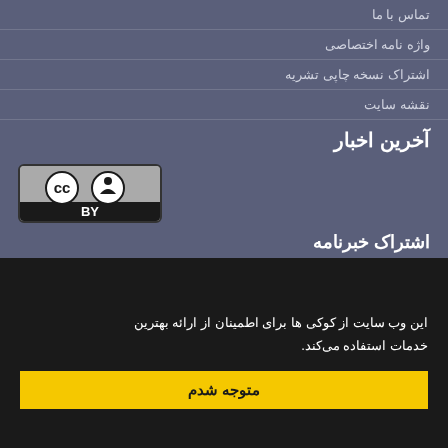تماس با ما
واژه نامه اختصاصی
اشتراک نسخه چاپی تشریه
نقشه سایت
آخرین اخبار
[Figure (logo): Creative Commons CC BY license badge]
اشتراک خبرنامه
برای دریافت اخبار و اطلاعیه های مهم نشر به در خبرنامه نشریه مشترک
این وب سایت از کوکی ها برای اطمینان از ارائه بهترین خدمات استفاده می‌کند.
متوجه شدم
نامه مدیریت نشریات علمی. مجذب درخواست از سیناوب